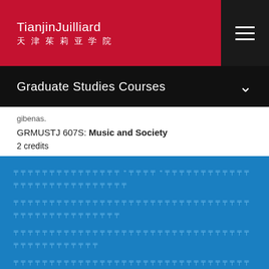TianjinJuilliard 天津茱莉亚学院
Graduate Studies Courses
gibenas.
GRMUSTJ 607S: Music and Society
2 credits
[Chinese text describing the course - rendered as placeholder characters]
[Button label - Chinese characters]